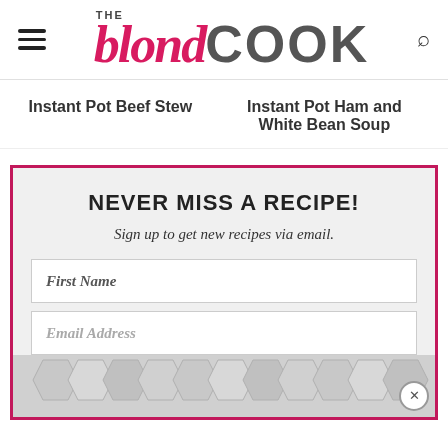THE blond COOK
Instant Pot Beef Stew
Instant Pot Ham and White Bean Soup
NEVER MISS A RECIPE!
Sign up to get new recipes via email.
First Name
Email Address